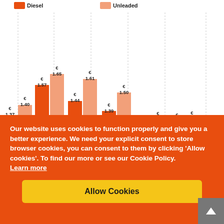[Figure (grouped-bar-chart): Fuel prices (Diesel vs Unleaded)]
Our website uses cookies to function properly and give you a better experience. We need your explicit consent to store browser cookies, you can consent to them by clicking 'Allow cookies'. To find our more or see our Cookie Policy.
Learn more
Allow Cookies